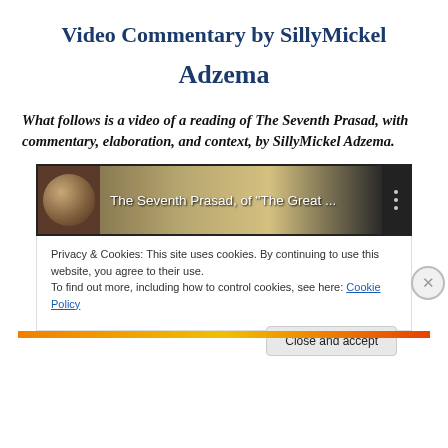Video Commentary by SillyMickel Adzema
What follows is a video of a reading of The Seventh Prasad, with commentary, elaboration, and context, by SillyMickel Adzema.
[Figure (screenshot): Embedded video thumbnail showing 'The Seventh Prasad, of "The Great ..."' with a circular avatar photo on the left and a three-dot menu icon on the right, overlaid with a cookie consent banner and a Close and accept button.]